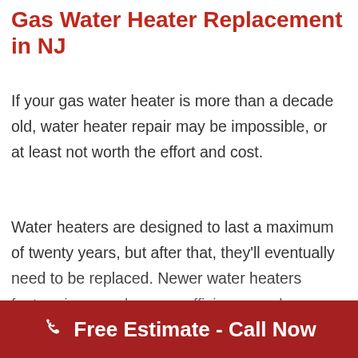Gas Water Heater Replacement in NJ
If your gas water heater is more than a decade old, water heater repair may be impossible, or at least not worth the effort and cost.
Water heaters are designed to last a maximum of twenty years, but after that, they'll eventually need to be replaced. Newer water heaters feature improved energy efficiency, and are available to meet a range of energy efficiency needs, family...
Free Estimate - Call Now